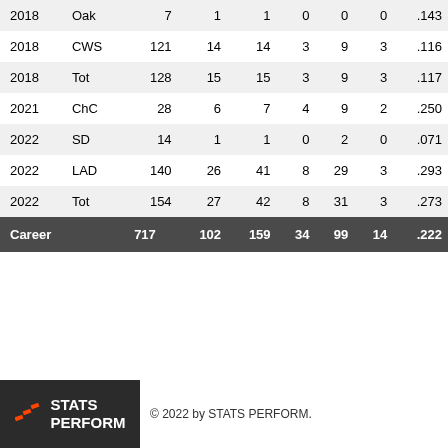| Year | Team | G | R | H | HR | RBI | SB | AVG |
| --- | --- | --- | --- | --- | --- | --- | --- | --- |
| 2018 | Oak | 7 | 1 | 1 | 0 | 0 | 0 | .143 |
| 2018 | CWS | 121 | 14 | 14 | 3 | 9 | 3 | .116 |
| 2018 | Tot | 128 | 15 | 15 | 3 | 9 | 3 | .117 |
| 2021 | ChC | 28 | 6 | 7 | 4 | 9 | 2 | .250 |
| 2022 | SD | 14 | 1 | 1 | 0 | 2 | 0 | .071 |
| 2022 | LAD | 140 | 26 | 41 | 8 | 29 | 3 | .293 |
| 2022 | Tot | 154 | 27 | 42 | 8 | 31 | 3 | .273 |
| Career |  | 717 | 102 | 159 | 34 | 99 | 14 | .222 |
© 2022 by STATS PERFORM.